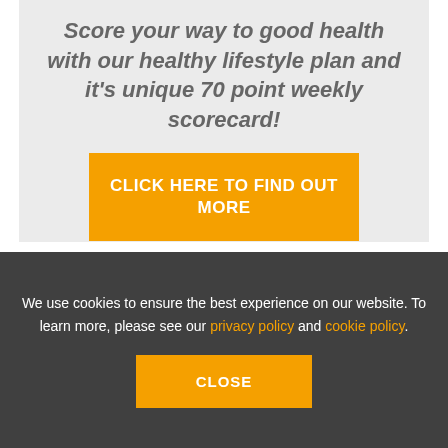Score your way to good health with our healthy lifestyle plan and it's unique 70 point weekly scorecard!
CLICK HERE TO FIND OUT MORE
November 16, 2015 | by Larry Lewis | in Enlighten the Soul | 0 Comments |
We use cookies to ensure the best experience on our website. To learn more, please see our privacy policy and cookie policy.
CLOSE